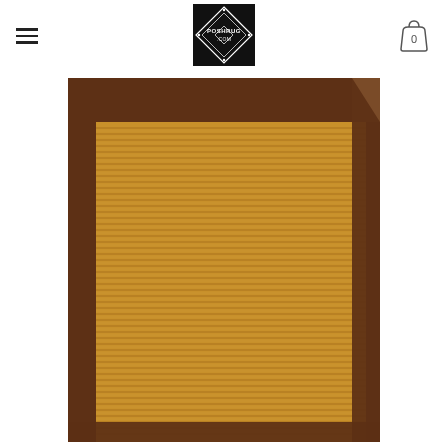[Figure (logo): PoshRug.com logo — black square with diamond/rug geometric pattern and text POSHRUG.COM in white]
[Figure (photo): Close-up photo of a sisal/jute area rug with a brown leather border binding. The rug shows horizontal woven texture in golden-brown tones, with a dark chocolate brown leather border visible on the top and right edges, mitered at the corner.]
[Figure (other): Shopping bag cart icon with number 0 inside, top-right corner navigation element]